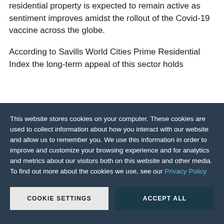residential property is expected to remain active as sentiment improves amidst the rollout of the Covid-19 vaccine across the globe.
According to Savills World Cities Prime Residential Index the long-term appeal of this sector holds
This website stores cookies on your computer. These cookies are used to collect information about how you interact with our website and allow us to remember you. We use this information in order to improve and customize your browsing experience and for analytics and metrics about our visitors both on this website and other media. To find out more about the cookies we use, see our Privacy Policy